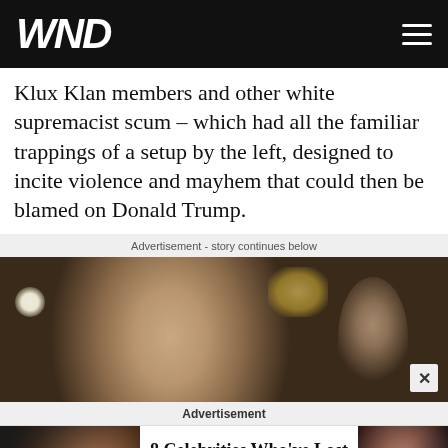WND
Klux Klan members and other white supremacist scum – which had all the familiar trappings of a setup by the left, designed to incite violence and mayhem that could then be blamed on Donald Trump.
Advertisement - story continues below
[Figure (photo): Close-up photo of an older man with white hair looking stern, with camera flash visible on left and chandelier lights in background, another person visible at right edge]
Advertisement
[Figure (photo): Advertisement banner: 8 Celebrities Who've Lost Their Fandoms - Herbeauty. Left thumbnail shows dark-haired man, right thumbnail shows person in gaming chair.]